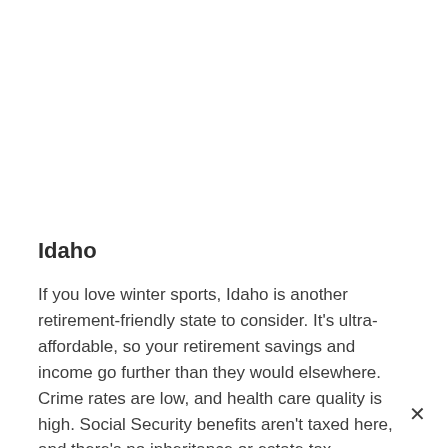Idaho
If you love winter sports, Idaho is another retirement-friendly state to consider. It's ultra-affordable, so your retirement savings and income go further than they would elsewhere. Crime rates are low, and health care quality is high. Social Security benefits aren't taxed here, and there's no inheritance or estate tax — making it a good option for your dependents and heirs as well.